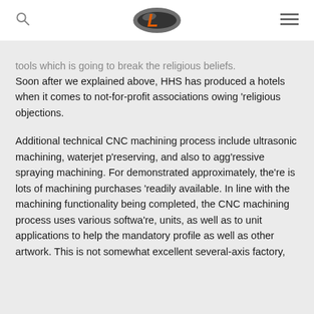[Logo: L in orange with oval] [Search icon] [Menu icon]
tools which is going to break the religious beliefs. Soon after we explained above, HHS has produced a hotels when it comes to not-for-profit associations owing 'religious objections.
Additional technical CNC machining process include ultrasonic machining, waterjet p'reserving, and also to agg'ressive spraying machining. For demonstrated approximately, the're is lots of machining purchases 'readily available. In line with the machining functionality being completed, the CNC machining process uses various softwa're, units, as well as to unit applications to help the mandatory profile as well as other artwork. This is not somewhat excellent several-axis factory,